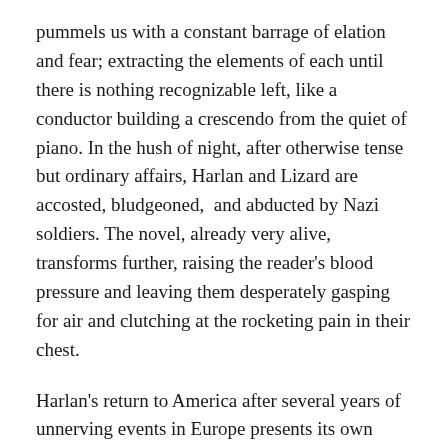pummels us with a constant barrage of elation and fear; extracting the elements of each until there is nothing recognizable left, like a conductor building a crescendo from the quiet of piano. In the hush of night, after otherwise tense but ordinary affairs, Harlan and Lizard are accosted, bludgeoned,  and abducted by Nazi soldiers. The novel, already very alive, transforms further, raising the reader's blood pressure and leaving them desperately gasping for air and clutching at the rocketing pain in their chest.
Harlan's return to America after several years of unnerving events in Europe presents its own symphony of challenges. The many events experienced by Lizard and Harlan after their abduction, introducing to some and confirming for others the historically excluded conflict that occurred